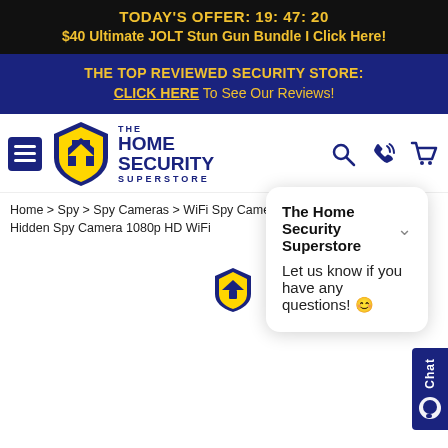TODAY'S OFFER: 19: 47: 20
$40 Ultimate JOLT Stun Gun Bundle I Click Here!
THE TOP REVIEWED SECURITY STORE:
CLICK HERE To See Our Reviews!
[Figure (logo): The Home Security Superstore logo with blue shield and navigation icons]
Home > Spy > Spy Cameras > WiFi Spy Cameras > iPhone Charging Dock Hidden Spy Camera 1080p HD WiFi
[Figure (screenshot): Chat popup from The Home Security Superstore: 'Let us know if you have any questions! :)']